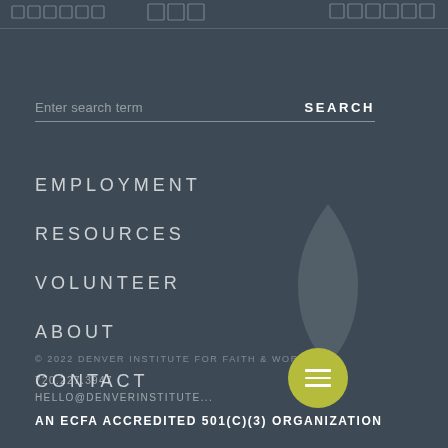[decorative grid pattern bar]
Enter search term
SEARCH
EMPLOYMENT
RESOURCES
VOLUNTEER
ABOUT
CONTACT
© 2022 DENVER INSTITUTE FOR FAITH & WORK
720.227.3947
HELLO@DENVERINSTITUTE...
AN ECFA ACCREDITED 501(C)(3) ORGANIZATION